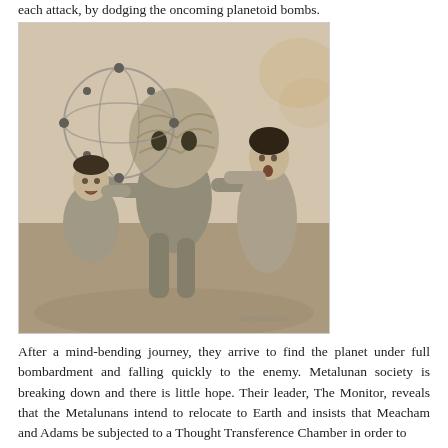each attack, by dodging the oncoming planetoid bombs.
[Figure (photo): Black and white photograph showing a scene from a science fiction film. An alien creature with a large brain-like head and mechanical orbital device is grabbing a man by the throat while a woman in the background tries to intervene. The alien and man are the focal point of the dramatic struggle.]
After a mind-bending journey, they arrive to find the planet under full bombardment and falling quickly to the enemy. Metalunan society is breaking down and there is little hope. Their leader, The Monitor, reveals that the Metalunans intend to relocate to Earth and insists that Meacham and Adams be subjected to a Thought Transference Chamber in order to